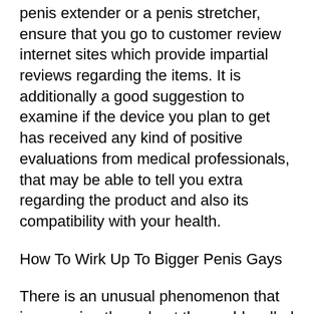otherwise. If you are preparing to purchase a penis extender or a penis stretcher, ensure that you go to customer review internet sites which provide impartial reviews regarding the items. It is additionally a good suggestion to examine if the device you plan to get has received any kind of positive evaluations from medical professionals, that may be able to tell you extra regarding the product and also its compatibility with your health.
How To Wirk Up To Bigger Penis Gays
There is an unusual phenomenon that is sweeping throughout the world, called “DD” (Dwarfism), and also it is this unusual little tale that is the reason for much speculation, allows us to know allow us to know. Such b